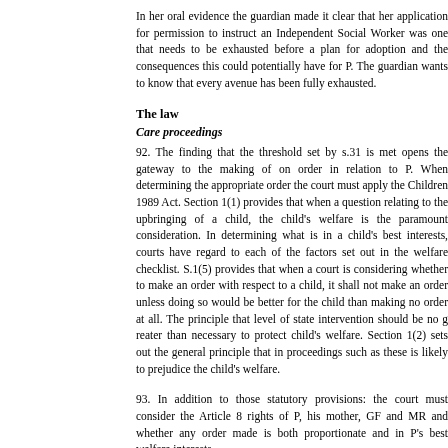In her oral evidence the guardian made it clear that her application for permission to instruct an Independent Social Worker was one that needs to be exhausted before a plan for adoption and the consequences this could potentially have for P. The guardian wants to know that every avenue has been fully exhausted.
The law
Care proceedings
92. The finding that the threshold set by s.31 is met opens the gateway to the making of on order in relation to P. When determining the appropriate order the court must apply the Children 1989 Act. Section 1(1) provides that when a court determines a question to the upbringing of a child, the child's welfare is the paramount consideration. In determining what is in a child's best interests, courts have regard to each of the factors set out in the welfare checklist. S.1(5) provides that when a court is considering whether to make an order with respect to a child, it shall not make an order unless doing so would be better for the child than making no order at all. The principle that level of state intervention should be no greater than necessary to protect child's welfare. Section 1(2) sets out the general principle that in proceedings such as these is likely to prejudice the child's welfare.
93. In addition to those statutory provisions, the court must consider the Article 8 rights of P, his mother, GF and MR and whether any order made is both proportionate and in P's best welfare interests.
Placement application
94. In addition to a final care order the local authority also seeks